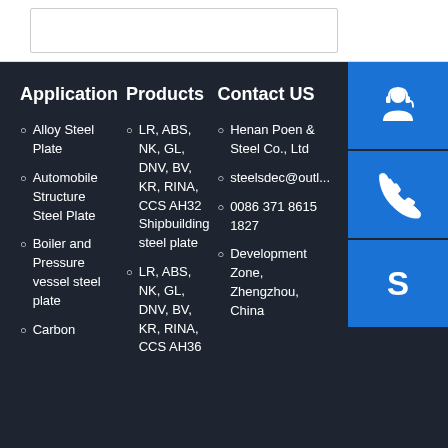Application
Alloy Steel Plate
Automobile Structure Steel Plate
Boiler and Pressure vessel steel plate
Carbon
Products
LR, ABS, NK, GL, DNV, BV, KR, RINA, CCS AH32 Shipbuilding steel plate
LR, ABS, NK, GL, DNV, BV, KR, RINA, CCS AH36
Contact US
Henan Poen & Steel Co., Ltd
steelsdec@outl...
0086 371 8615 1827
Development Zone, Zhengzhou, China